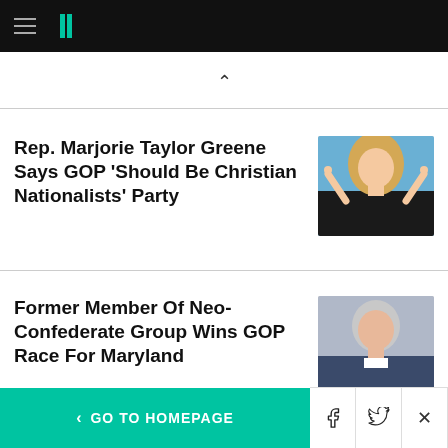HuffPost navigation header
Rep. Marjorie Taylor Greene Says GOP 'Should Be Christian Nationalists' Party
[Figure (photo): Photo of Marjorie Taylor Greene, a blonde woman in a black top, pointing both index fingers upward]
Former Member Of Neo-Confederate Group Wins GOP Race For Maryland
[Figure (photo): Photo of an older white-haired man in a suit speaking]
< GO TO HOMEPAGE | Facebook share | Twitter share | Close